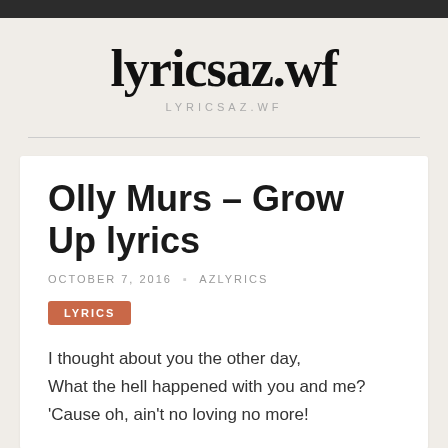lyricsaz.wf
LYRICSAZ.WF
Olly Murs – Grow Up lyrics
OCTOBER 7, 2016 ▪ AZLYRICS
LYRICS
I thought about you the other day,
What the hell happened with you and me?
'Cause oh, ain't no loving no more!